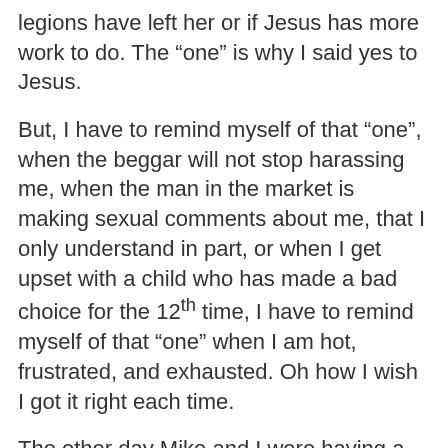legions have left her or if Jesus has more work to do. The “one” is why I said yes to Jesus.
But, I have to remind myself of that “one”, when the beggar will not stop harassing me, when the man in the market is making sexual comments about me, that I only understand in part, or when I get upset with a child who has made a bad choice for the 12th time, I have to remind myself of that “one” when I am hot, frustrated, and exhausted. Oh how I wish I got it right each time.
The other day Mike and I were having a disagreement and I said “it’s not fair I have given up everything, my home, my belongings, my children and my grandchildren, everything.” It made me even more mad when he said I had given up little in comparison. But he was right. You see God is changing my perspective, it is starting to not look so American, but it is not looking Haitian either, It is looking, it is looking like, like a Bartist to me at h